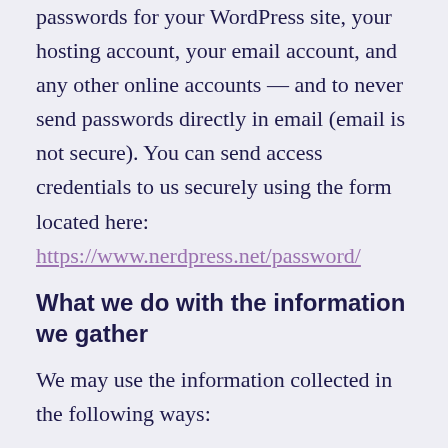passwords for your WordPress site, your hosting account, your email account, and any other online accounts — and to never send passwords directly in email (email is not secure). You can send access credentials to us securely using the form located here:
https://www.nerdpress.net/password/
What we do with the information we gather
We may use the information collected in the following ways:
To provide our WordPress Support Services to